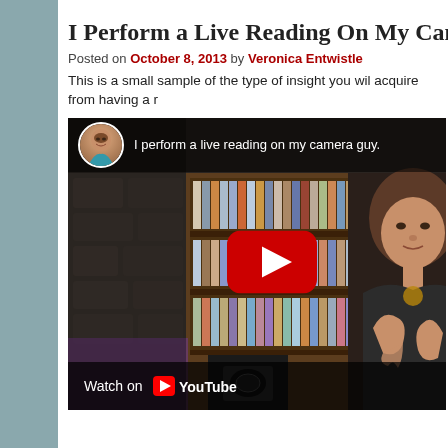I Perform a Live Reading On My Camera
Posted on October 8, 2013 by Veronica Entwistle
This is a small sample of the type of insight you wil acquire from having a r
[Figure (screenshot): YouTube video thumbnail showing a woman performing a live reading. The video is titled 'I perform a live reading on my camera guy.' with a circular avatar photo in the top left corner, a red YouTube play button in the center, and a 'Watch on YouTube' bar at the bottom. The background shows a woman with brown hair gesturing with her hands in front of a bookshelf.]